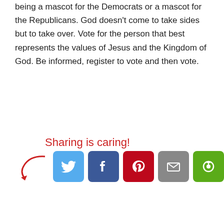being a mascot for the Democrats or a mascot for the Republicans. God doesn't come to take sides but to take over. Vote for the person that best represents the values of Jesus and the Kingdom of God. Be informed, register to vote and then vote.
[Figure (infographic): Sharing is caring! label in red cursive with arrow pointing to social media share buttons: Twitter (blue), Facebook (dark blue), Pinterest (red), Email (gray), Share (green)]
‹ Retreat Sneak Peek    Sprague Family Newsletter 2014 ›
Leave a Reply